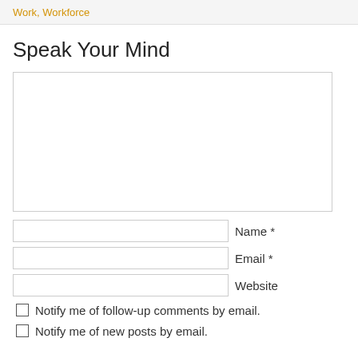Work, Workforce
Speak Your Mind
Name *
Email *
Website
Notify me of follow-up comments by email.
Notify me of new posts by email.